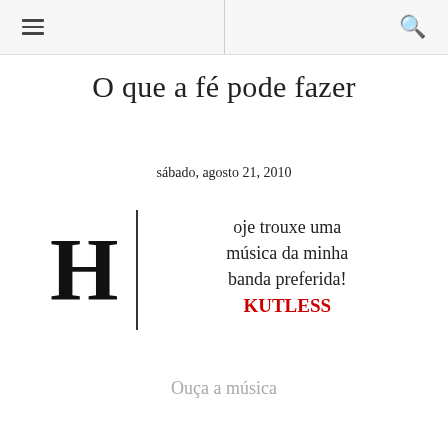≡  🔍
O que a fé pode fazer
sábado, agosto 21, 2010
Hoje trouxe uma música da minha banda preferida! KUTLESS
Ouça a música